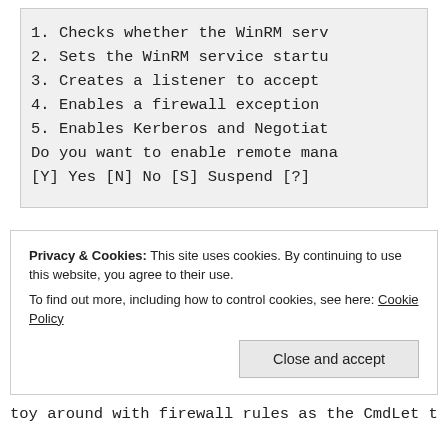[Figure (screenshot): Terminal/console output showing a numbered list and a prompt. Lines: 1. Checks whether the WinRM serv, 2. Sets the WinRM service startu, 3. Creates a listener to accept, 4. Enables a firewall exception, 5. Enables Kerberos and Negotiat, Do you want to enable remote mana, [Y] Yes  [N] No  [S] Suspend  [?]]
Privacy & Cookies: This site uses cookies. By continuing to use this website, you agree to their use.
To find out more, including how to control cookies, see here: Cookie Policy
Close and accept
toy around with firewall rules as the CmdLet takes care